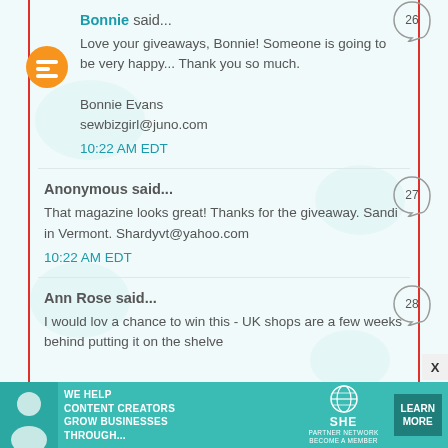Bonnie said...
Love your giveaways, Bonnie! Someone is going to be very happy... Thank you so much.

Bonnie Evans
sewbizgirl@juno.com
10:22 AM EDT
Anonymous said...
That magazine looks great! Thanks for the giveaway. Sandi in Vermont. Shardyvt@yahoo.com
10:22 AM EDT
Ann Rose said...
I would lov a chance to win this - UK shops are a few weeks behind putting it on the shelve
[Figure (infographic): Teal advertisement banner: WE HELP CONTENT CREATORS GROW BUSINESSES THROUGH... with SHE Partner Network logo and LEARN MORE button]